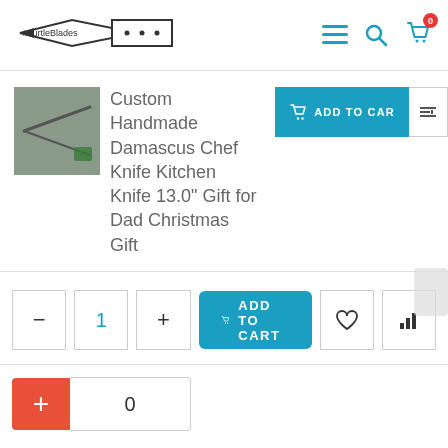#TurtleBlades
Custom Handmade Damascus Chef Knife Kitchen Knife 13.0" Gift for Dad Christmas Gift
ADD TO CART
- 1 + ADD TO CART
+ 0
DESCRIPTION
REVIEWS (0)